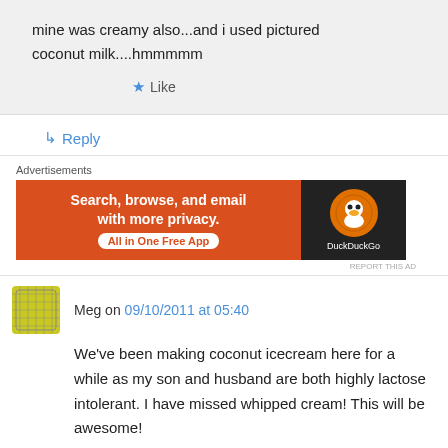mine was creamy also...and i used pictured coconut milk....hmmmmm
★ Like
↳ Reply
[Figure (other): DuckDuckGo advertisement banner: orange background with text 'Search, browse, and email with more privacy. All in One Free App' and DuckDuckGo logo on dark background]
REPORT THIS AD
Meg on 09/10/2011 at 05:40
We've been making coconut icecream here for a while as my son and husband are both highly lactose intolerant. I have missed whipped cream! This will be awesome!
★ Like